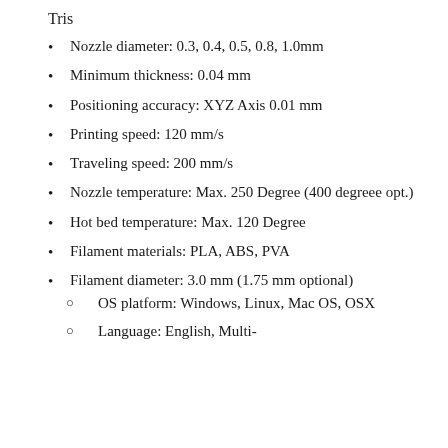Tris
Nozzle diameter: 0.3, 0.4, 0.5, 0.8, 1.0mm
Minimum thickness: 0.04 mm
Positioning accuracy: XYZ Axis 0.01 mm
Printing speed: 120 mm/s
Traveling speed: 200 mm/s
Nozzle temperature: Max. 250 Degree (400 degreee opt.)
Hot bed temperature: Max. 120 Degree
Filament materials: PLA, ABS, PVA
Filament diameter: 3.0 mm (1.75 mm optional)
OS platform: Windows, Linux, Mac OS, OSX
Language: English, Multi-